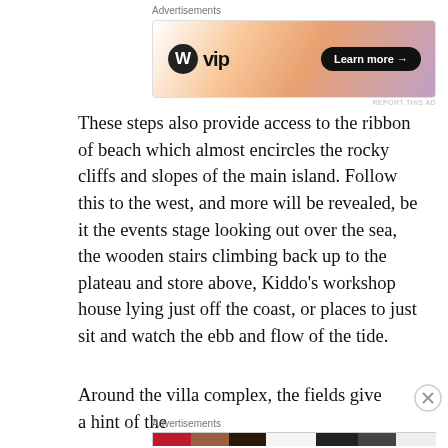Advertisements
[Figure (other): WordPress VIP advertisement banner with gradient orange/pink background, WordPress logo, 'vip' text, and 'Learn more →' button]
These steps also provide access to the ribbon of beach which almost encircles the rocky cliffs and slopes of the main island. Follow this to the west, and more will be revealed, be it the events stage looking out over the sea, the wooden stairs climbing back up to the plateau and store above, Kiddo's workshop house lying just off the coast, or places to just sit and watch the ebb and flow of the tide.
Around the villa complex, the fields give a hint of the
Advertisements
[Figure (other): Ulta Beauty advertisement banner showing close-up photos of lips with lipstick, brush, eye with makeup, Ulta logo, eye close-ups, and 'SHOP NOW' call to action]